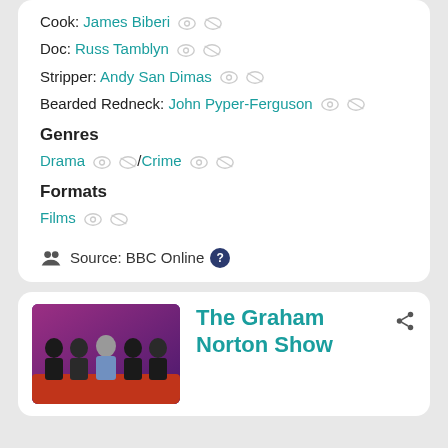Cook: James Biberi
Doc: Russ Tamblyn
Stripper: Andy San Dimas
Bearded Redneck: John Pyper-Ferguson
Genres
Drama / Crime
Formats
Films
Source: BBC Online
[Figure (photo): Group photo of TV show guests on The Graham Norton Show, sitting on a red sofa with purple/pink lighting background]
The Graham Norton Show